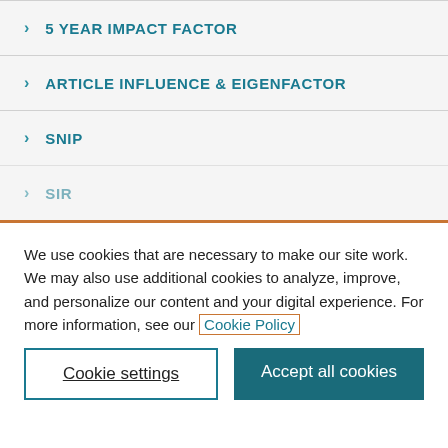5 YEAR IMPACT FACTOR
ARTICLE INFLUENCE & EIGENFACTOR
SNIP
SIR
We use cookies that are necessary to make our site work. We may also use additional cookies to analyze, improve, and personalize our content and your digital experience. For more information, see our Cookie Policy
Cookie settings
Accept all cookies